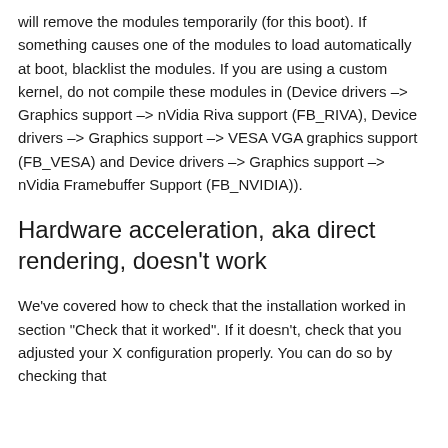will remove the modules temporarily (for this boot). If something causes one of the modules to load automatically at boot, blacklist the modules. If you are using a custom kernel, do not compile these modules in (Device drivers –> Graphics support –> nVidia Riva support (FB_RIVA), Device drivers –> Graphics support –> VESA VGA graphics support (FB_VESA) and Device drivers –> Graphics support –> nVidia Framebuffer Support (FB_NVIDIA)).
Hardware acceleration, aka direct rendering, doesn't work
We've covered how to check that the installation worked in section "Check that it worked". If it doesn't, check that you adjusted your X configuration properly. You can do so by checking that